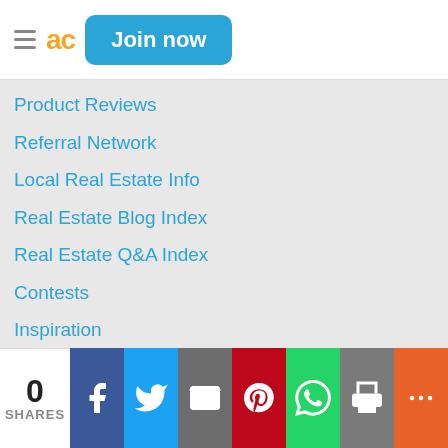Join now
Product Reviews
Referral Network
Local Real Estate Info
Real Estate Blog Index
Real Estate Q&A Index
Contests
Inspiration
Important Links
ActiveRain Ambassadors
Leaderboard
Membership Roster
First Blog Posts
Getting Started on AR
Recent Blog Posts
Referral Network
0 SHARES